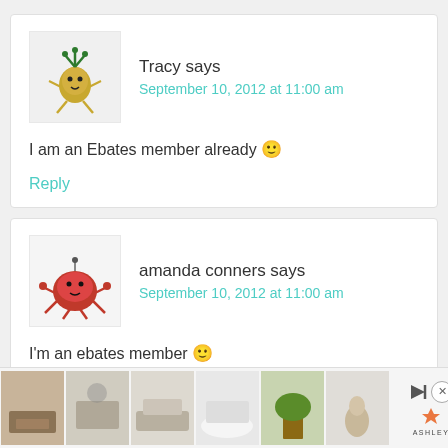Tracy says
September 10, 2012 at 11:00 am
I am an Ebates member already 🙂
Reply
amanda conners says
September 10, 2012 at 11:00 am
I'm an ebates member 🙂
Reply
[Figure (screenshot): Ad bar at bottom with furniture images and Ashley logo]